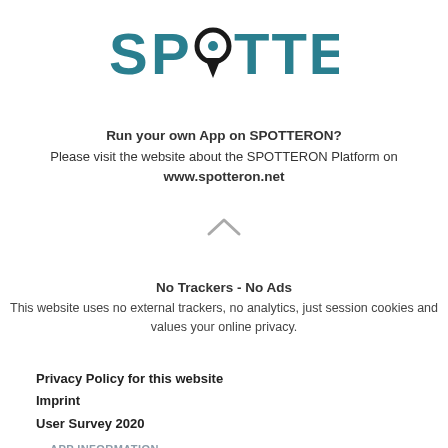[Figure (logo): SPOTTERON logo with teal/dark teal text and a location pin icon replacing the letter O]
Run your own App on SPOTTERON?
Please visit the website about the SPOTTERON Platform on
www.spotteron.net
[Figure (other): Upward-pointing caret/chevron symbol]
No Trackers - No Ads
This website uses no external trackers, no analytics, just session cookies and values your online privacy.
Privacy Policy for this website
Imprint
User Survey 2020
APP INFORMATION
Information: Crowdwater